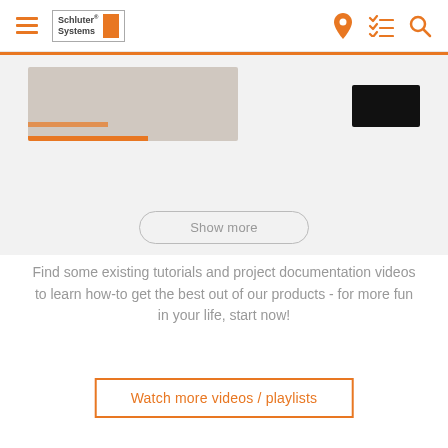Schluter Systems
[Figure (screenshot): Partially visible video thumbnail strip showing product tutorial videos with an orange progress bar, on a gray background]
Show more
Find some existing tutorials and project documentation videos to learn how-to get the best out of our products - for more fun in your life, start now!
Watch more videos / playlists